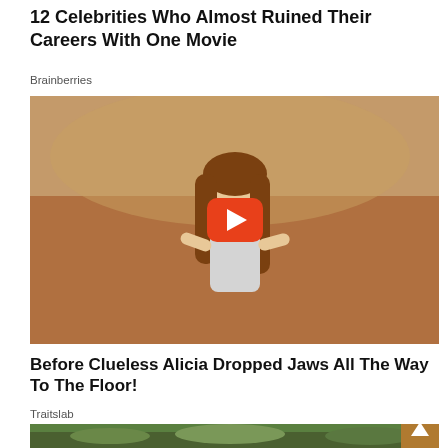12 Celebrities Who Almost Ruined Their Careers With One Movie
Brainberries
[Figure (photo): Video thumbnail showing a young woman with long brown hair leaning forward against a blurred brownish outdoor background, with a YouTube-style orange play button overlay]
Before Clueless Alicia Dropped Jaws All The Way To The Floor!
Traitslab
[Figure (photo): Partial thumbnail of another video, showing an outdoor scene with trees and people, partially cut off at bottom of page]